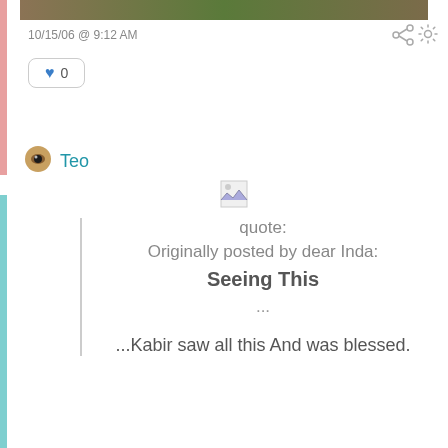[Figure (photo): Partial photo strip showing nature/outdoor scene at top of page]
10/15/06 @ 9:12 AM
[Figure (other): Share icon (three connected dots)]
[Figure (other): Gear/settings icon]
♥ 0
Teo
[Figure (other): Broken image placeholder]
quote:
Originally posted by dear Inda:
Seeing This
...

...Kabir saw all this And was blessed.